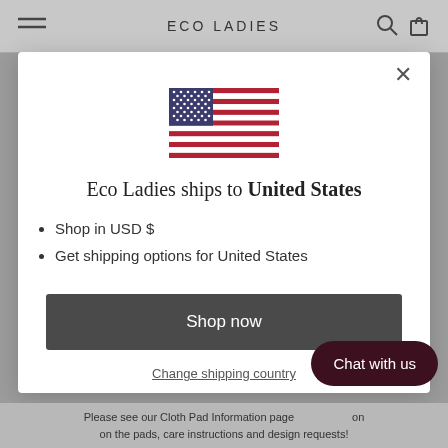ECO LADIES
Eco Ladies ships to United States
Shop in USD $
Get shipping options for United States
Shop now
Change shipping country
Chat with us
Please see our Cloth Pad Information page on the pads, care instructions and design requests!